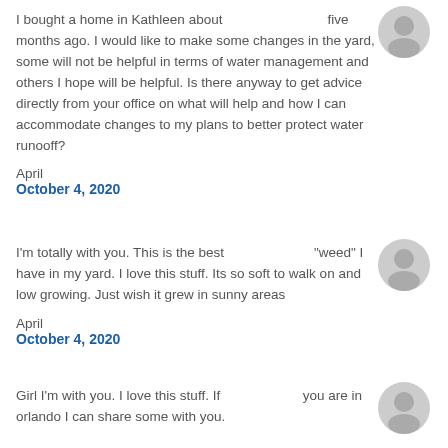I bought a home in Kathleen about five months ago. I would like to make some changes in the yard, some will not be helpful in terms of water management and others I hope will be helpful. Is there anyway to get advice directly from your office on what will help and how I can accommodate changes to my plans to better protect water runooff?
April
October 4, 2020
I'm totally with you. This is the best "weed" I have in my yard. I love this stuff. Its so soft to walk on and low growing. Just wish it grew in sunny areas
April
October 4, 2020
Girl I'm with you. I love this stuff. If you are in orlando I can share some with you.